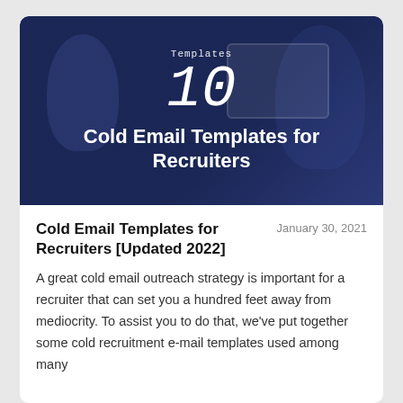[Figure (illustration): Hero banner image with dark navy blue background showing '10 Cold Email Templates for Recruiters' with large italic '10' and 'Templates' label above it, overlaid on a blurred office background with a person and monitor]
Cold Email Templates for Recruiters [Updated 2022]
January 30, 2021
A great cold email outreach strategy is important for a recruiter that can set you a hundred feet away from mediocrity. To assist you to do that, we've put together some cold recruitment e-mail templates used among many